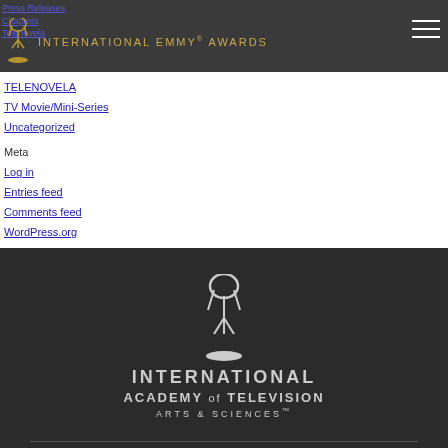INTERNATIONAL EMMY® AWARDS
Press Releases
Chapters
Telenovela
TELENOVELA
TV Movie/Mini-Series
Uncategorized
Meta
Log in
Entries feed
Comments feed
WordPress.org
[Figure (logo): International Academy of Television Arts & Sciences logo with Emmy statuette, white on dark background. Text: INTERNATIONAL ACADEMY of TELEVISION ARTS & SCIENCES™]